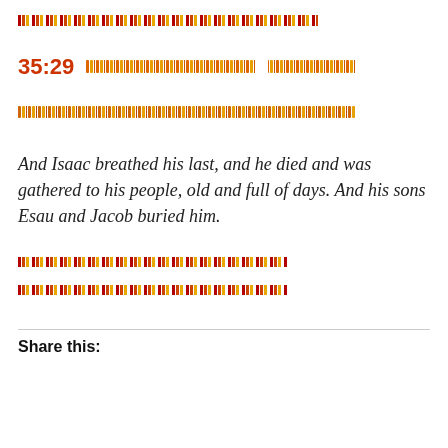[Figure (other): Decorative bar made of repeating colored rectangular segments in red, orange, and gold]
35:29  [Hebrew text decorative representation]
[Hebrew text decorative line]
And Isaac breathed his last, and he died and was gathered to his people, old and full of days. And his sons Esau and Jacob buried him.
[Figure (other): Decorative bar made of repeating colored rectangular segments in red, orange, and gold]
[Figure (other): Decorative bar made of repeating colored rectangular segments in red, orange, and gold]
Share this: